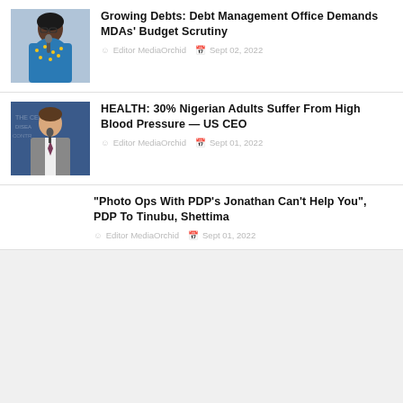[Figure (photo): Woman in colorful blue and yellow patterned outfit speaking at a microphone]
Growing Debts: Debt Management Office Demands MDAs' Budget Scrutiny
Editor MediaOrchid  Sept 02, 2022
[Figure (photo): Man in gray suit against blue background with text, standing at a microphone]
HEALTH: 30% Nigerian Adults Suffer From High Blood Pressure — US CEO
Editor MediaOrchid  Sept 01, 2022
"Photo Ops With PDP's Jonathan Can't Help You", PDP To Tinubu, Shettima
Editor MediaOrchid  Sept 01, 2022